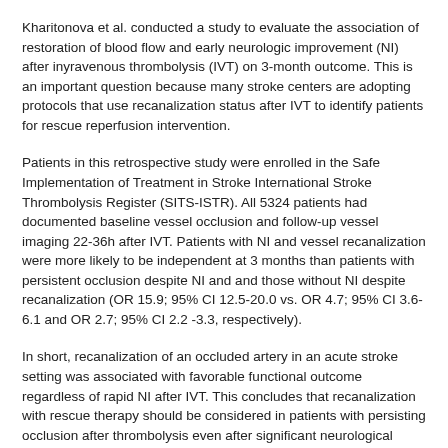Kharitonova et al. conducted a study to evaluate the association of restoration of blood flow and early neurologic improvement (NI) after inyravenous thrombolysis (IVT) on 3-month outcome. This is an important question because many stroke centers are adopting protocols that use recanalization status after IVT to identify patients for rescue reperfusion intervention.
Patients in this retrospective study were enrolled in the Safe Implementation of Treatment in Stroke International Stroke Thrombolysis Register (SITS-ISTR). All 5324 patients had documented baseline vessel occlusion and follow-up vessel imaging 22-36h after IVT. Patients with NI and vessel recanalization were more likely to be independent at 3 months than patients with persistent occlusion despite NI and and those without NI despite recanalization (OR 15.9; 95% CI 12.5-20.0 vs. OR 4.7; 95% CI 3.6-6.1 and OR 2.7; 95% CI 2.2 -3.3, respectively).
In short, recanalization of an occluded artery in an acute stroke setting was associated with favorable functional outcome regardless of rapid NI after IVT. This concludes that recanalization with rescue therapy should be considered in patients with persisting occlusion after thrombolysis even after significant neurological improvement.